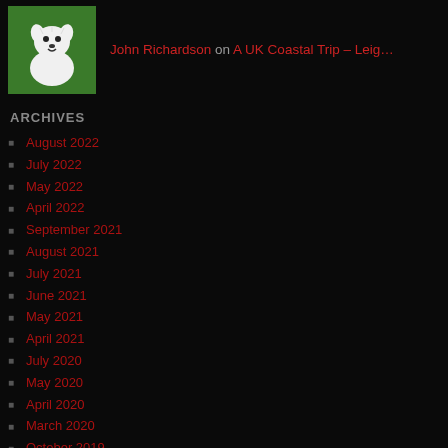[Figure (illustration): Small avatar image of a cartoon dog (white terrier) on a green background]
John Richardson on A UK Coastal Trip – Leig…
ARCHIVES
August 2022
July 2022
May 2022
April 2022
September 2021
August 2021
July 2021
June 2021
May 2021
April 2021
July 2020
May 2020
April 2020
March 2020
October 2019
September 2019
August 2019
July 2019